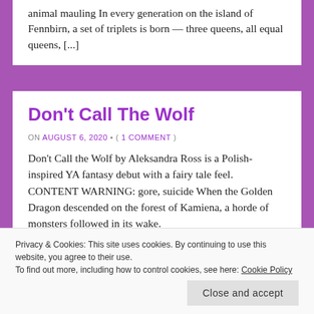animal mauling In every generation on the island of Fennbirn, a set of triplets is born — three queens, all equal queens, [...]
Don't Call The Wolf
ON AUGUST 6, 2020 • ( 1 COMMENT )
Don't Call the Wolf by Aleksandra Ross is a Polish-inspired YA fantasy debut with a fairy tale feel. CONTENT WARNING: gore, suicide When the Golden Dragon descended on the forest of Kamiena, a horde of monsters followed in its wake.
Privacy & Cookies: This site uses cookies. By continuing to use this website, you agree to their use.
To find out more, including how to control cookies, see here: Cookie Policy
Close and accept